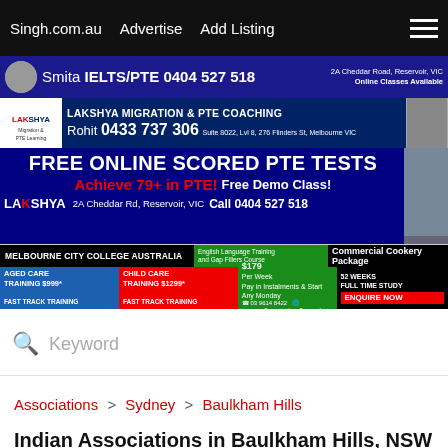Singh.com.au   Advertise   Add Listing
[Figure (screenshot): Smita IELTS/PTE advertisement banner: phone 0404 527 518, 2A Cheddar Road Reservoir VIC, Online Classes Available]
[Figure (screenshot): Lakshya Migration & PTE Coaching banner: Rohit 0433 737 306, Suite 8022 Lvl 8 276 Flinders St Melbourne VIC]
[Figure (screenshot): FREE ONLINE SCORED PTE TESTS. Achieve 79+ in PTE! Free Demo Class! LAKSHYA 2A Cheddar Rd Reservoir VIC Call 0404 527 518]
[Figure (screenshot): Melbourne City College Australia: Aged Care Training $999*, Child Care Training $1299*, English Language Training and Gap Fillers Course $179 Per Week, Commercial Cookery Package 52 weeks full time study, Pay in Instalments & Start Any Monday, ENQUIRE NOW, 03 9614 8422, www.melbournecitycollege.edu.au]
Keyword
Associations > Sydney > Baulkham Hills
Indian Associations in Baulkham Hills, NSW